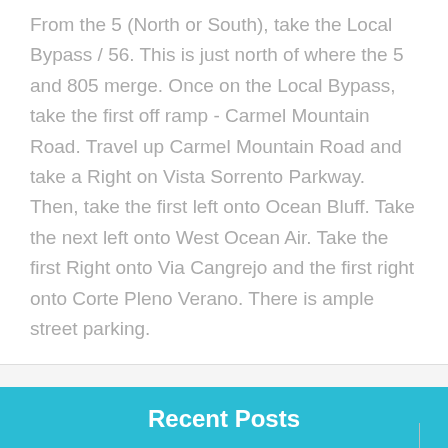From the 5 (North or South), take the Local Bypass / 56. This is just north of where the 5 and 805 merge. Once on the Local Bypass, take the first off ramp - Carmel Mountain Road. Travel up Carmel Mountain Road and take a Right on Vista Sorrento Parkway. Then, take the first left onto Ocean Bluff. Take the next left onto West Ocean Air. Take the first Right onto Via Cangrejo and the first right onto Corte Pleno Verano. There is ample street parking.
Recent Posts
The Impact of Electronic Devices on Handwriting
The Impact of Electronic Devices on Fine Motor Skills
Is There a Difference in the Brains of a Child With Sensory